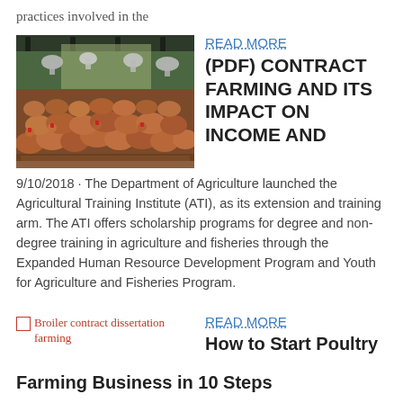practices involved in the
[Figure (photo): Photograph of a large flock of brown chickens (broilers) inside a poultry farm building with feeders and water dispensers visible.]
READ MORE
(PDF) CONTRACT FARMING AND ITS IMPACT ON INCOME AND
9/10/2018 · The Department of Agriculture launched the Agricultural Training Institute (ATI), as its extension and training arm. The ATI offers scholarship programs for degree and non-degree training in agriculture and fisheries through the Expanded Human Resource Development Program and Youth for Agriculture and Fisheries Program.
[Figure (photo): Broken image placeholder labeled 'Broiler contract dissertation farming' shown in red text with broken image icon.]
READ MORE
How to Start Poultry Farming Business in 10 Steps